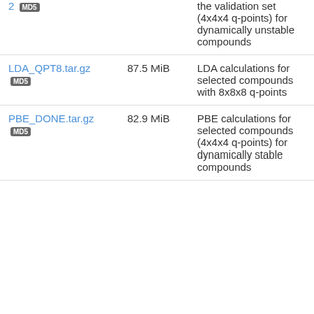| File | Size | Description |
| --- | --- | --- |
| 2 MD5 |  | the validation set (4x4x4 q-points) for dynamically unstable compounds |
| LDA_QPT8.tar.gz MD5 | 87.5 MiB | LDA calculations for selected compounds with 8x8x8 q-points |
| PBE_DONE.tar.gz MD5 | 82.9 MiB | PBE calculations for selected compounds (4x4x4 q-points) for dynamically stable compounds |